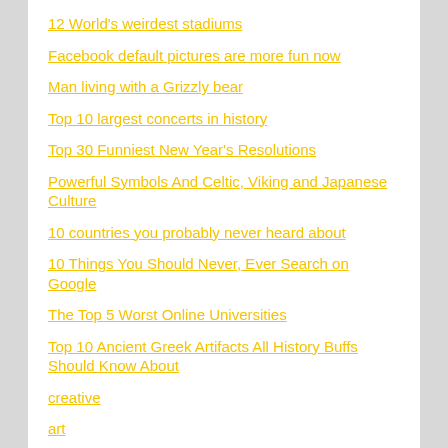12 World's weirdest stadiums
Facebook default pictures are more fun now
Man living with a Grizzly bear
Top 10 largest concerts in history
Top 30 Funniest New Year's Resolutions
Powerful Symbols And Celtic, Viking and Japanese Culture
10 countries you probably never heard about
10 Things You Should Never, Ever Search on Google
The Top 5 Worst Online Universities
Top 10 Ancient Greek Artifacts All History Buffs Should Know About
creative
art